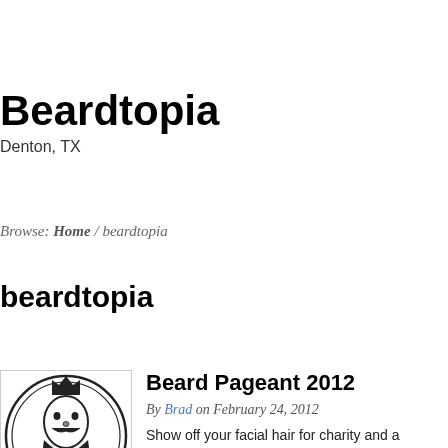Beardtopia
Denton, TX
Browse: Home / beardtopia
beardtopia
[Figure (logo): Circular logo for Beard Pageant featuring a stylized beard and crown illustration with text 'BEARD PAGEANT' around the border]
Beard Pageant 2012
By Brad on February 24, 2012
Show off your facial hair for charity and a chance to w... talent contest and a photoshop contest.